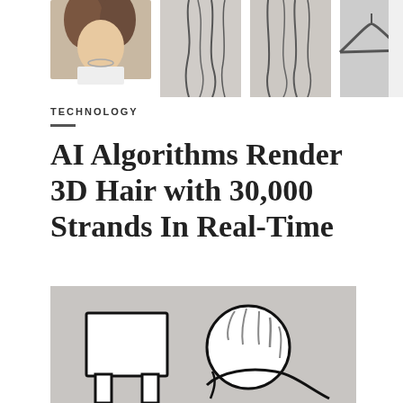[Figure (photo): Top strip showing hair rendering images: a woman with curly hair and necklace on the left, then several 3D hair strand renders on grey background, and a hanger silhouette on the right.]
TECHNOLOGY
AI Algorithms Render 3D Hair with 30,000 Strands In Real-Time
[Figure (illustration): A cartoon illustration on a grey background showing a person slumped over a laptop/computer in a stressed or exhausted pose. A red badge reads 'APR 14'.]